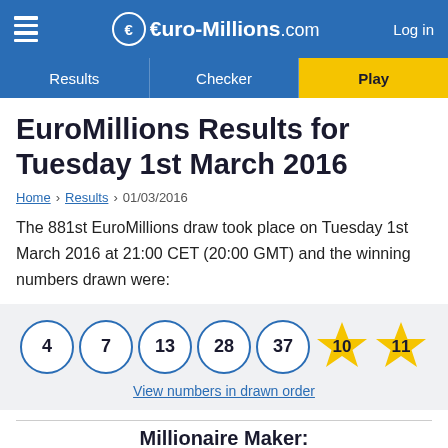€ Euro-Millions.com | Log in
Results | Checker | Play
EuroMillions Results for Tuesday 1st March 2016
Home > Results > 01/03/2016
The 881st EuroMillions draw took place on Tuesday 1st March 2016 at 21:00 CET (20:00 GMT) and the winning numbers drawn were:
[Figure (infographic): EuroMillions winning numbers: 5 white circle balls showing 4, 7, 13, 28, 37 and 2 gold lucky stars showing 10, 11]
View numbers in drawn order
Millionaire Maker: